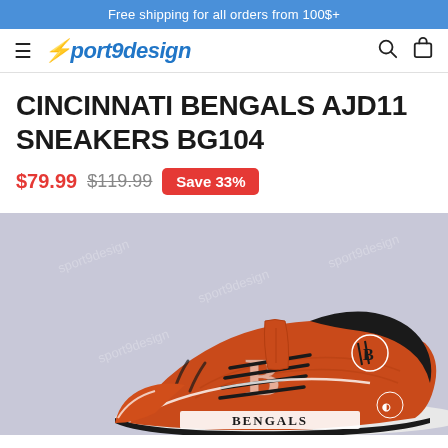Free shipping for all orders from 100$+
[Figure (logo): Sport9design logo with lightning bolt and italic text]
CINCINNATI BENGALS AJD11 SNEAKERS BG104
$79.99  $119.99  Save 33%
[Figure (photo): Cincinnati Bengals themed high-top sneakers (AJD11 style) in orange and black with Bengals logo and BENGALS text on the sole, on a light gray background]